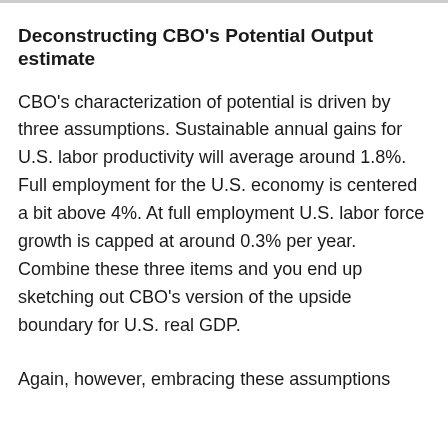Deconstructing CBO's Potential Output estimate
CBO's characterization of potential is driven by three assumptions. Sustainable annual gains for U.S. labor productivity will average around 1.8%. Full employment for the U.S. economy is centered a bit above 4%. At full employment U.S. labor force growth is capped at around 0.3% per year. Combine these three items and you end up sketching out CBO's version of the upside boundary for U.S. real GDP.
Again, however, embracing these assumptions